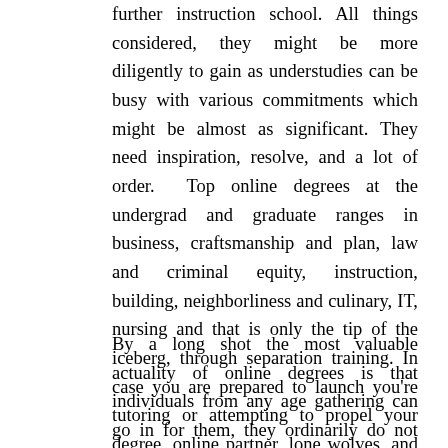further instruction school. All things considered, they might be more diligently to gain as understudies can be busy with various commitments which might be almost as significant. They need inspiration, resolve, and a lot of order.  Top online degrees at the undergrad and graduate ranges in business, craftsmanship and plan, law and criminal equity, instruction, building, neighborliness and culinary, IT, nursing and that is only the tip of the iceberg, through separation training. In case you are prepared to launch you're tutoring or attempting to propel your degree, online partner, lone wolves, and graduate degrees can be discovered online by means of separation training.
By a long shot the most valuable actuality of online degrees is that individuals from any age gathering can go in for them, they ordinarily do not have any age cutoff points in addition one may and the